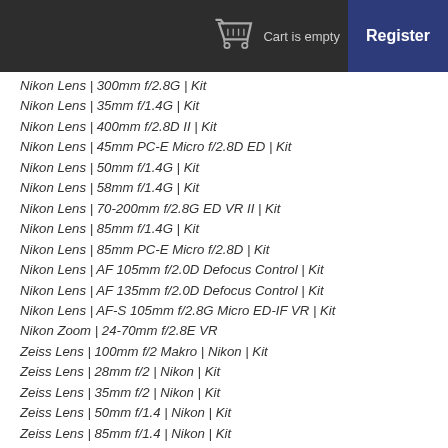Cart is empty   Register
Nikon Lens | 300mm f/2.8G | Kit
Nikon Lens | 35mm f/1.4G | Kit
Nikon Lens | 400mm f/2.8D II | Kit
Nikon Lens | 45mm PC-E Micro f/2.8D ED | Kit
Nikon Lens | 50mm f/1.4G | Kit
Nikon Lens | 58mm f/1.4G | Kit
Nikon Lens | 70-200mm f/2.8G ED VR II | Kit
Nikon Lens | 85mm f/1.4G | Kit
Nikon Lens | 85mm PC-E Micro f/2.8D | Kit
Nikon Lens | AF 105mm f/2.0D Defocus Control | Kit
Nikon Lens | AF 135mm f/2.0D Defocus Control | Kit
Nikon Lens | AF-S 105mm f/2.8G Micro ED-IF VR | Kit
Nikon Zoom | 24-70mm f/2.8E VR
Zeiss Lens | 100mm f/2 Makro | Nikon | Kit
Zeiss Lens | 28mm f/2 | Nikon | Kit
Zeiss Lens | 35mm f/2 | Nikon | Kit
Zeiss Lens | 50mm f/1.4 | Nikon | Kit
Zeiss Lens | 85mm f/1.4 | Nikon | Kit
Zeiss | Otus 55mm f/1.4 | ZF | Nikon | Kit
Nikon Prime Lenses
Nikon Lens | 14mm f/2.8D ED | Kit
Nikon Lens | 200mm f/2G ED II | Kit
Nikon Lens | 20mm f/1.8G ED | Kit
Nikon Lens | 24mm f/1.4G ED | Kit
Nikon Lens | 28mm f/1.8G | Kit